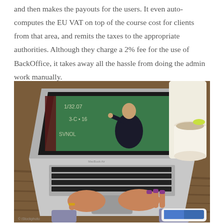and then makes the payouts for the users. It even auto-computes the EU VAT on top of the course cost for clients from that area, and remits the taxes to the appropriate authorities. Although they charge a 2% fee for the use of BackOffice, it takes away all the hassle from doing the admin work manually.
[Figure (photo): A person typing on a MacBook Air laptop which displays a video lecture of a teacher writing on a chalkboard. A coffee cup and smartphone are visible on a wooden desk in the background.]